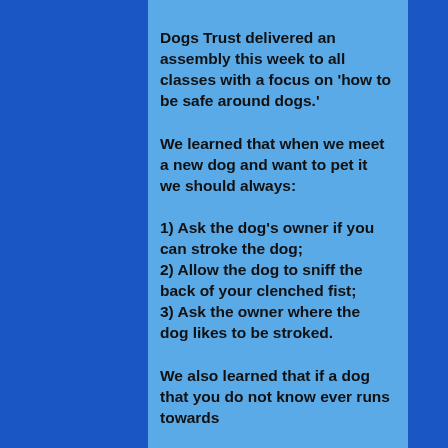Dogs Trust delivered an assembly this week to all classes with a focus on 'how to be safe around dogs.'
We learned that when we meet a new dog and want to pet it we should always:
1) Ask the dog's owner if you can stroke the dog;
2) Allow the dog to sniff the back of your clenched fist;
3) Ask the owner where the dog likes to be stroked.
We also learned that if a dog that you do not know ever runs towards